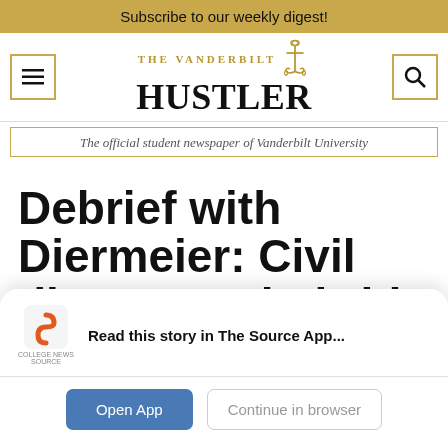Subscribe to our weekly digest!
[Figure (logo): The Vanderbilt Hustler newspaper logo with anchor emblem, hamburger menu icon, and search icon]
The official student newspaper of Vanderbilt University
Debrief with Diermeier: Civil discourse, hybrid
Read this story in The Source App...
Open App
Continue in browser